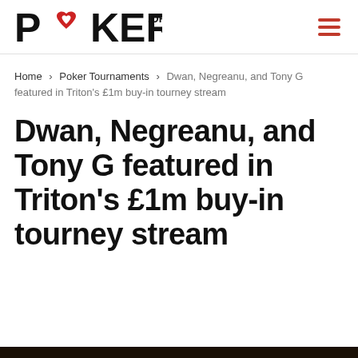Poker.org logo and navigation
Home > Poker Tournaments > Dwan, Negreanu, and Tony G featured in Triton's £1m buy-in tourney stream
Dwan, Negreanu, and Tony G featured in Triton's £1m buy-in tourney stream
[Figure (photo): Dark strip at bottom indicating an image below the fold]